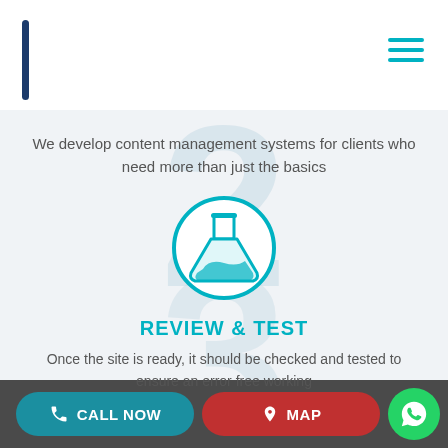[Figure (logo): Dark blue vertical bar logo on left, teal hamburger menu icon on right]
We develop content management systems for clients who need more than just the basics
[Figure (illustration): Teal circle outline containing a flask/beaker icon in teal, with large watermark numbers 2 and 3 in light blue behind]
REVIEW & TEST
Once the site is ready, it should be checked and tested to ensure an error free working
CALL NOW   MAP